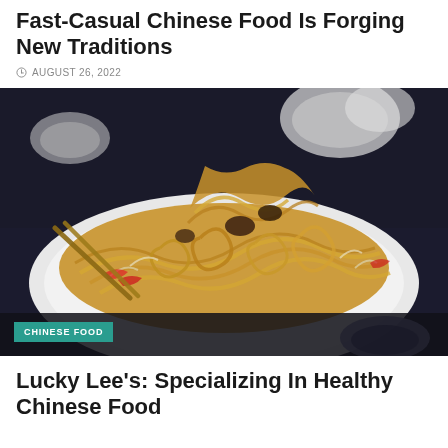Fast-Casual Chinese Food Is Forging New Traditions
AUGUST 26, 2022
[Figure (photo): A plate of stir-fried noodles with vegetables and meat, with chopsticks visible on the left and bowls in the background. A teal 'CHINESE FOOD' label badge is in the bottom-left corner of the image.]
Lucky Lee's: Specializing In Healthy Chinese Food